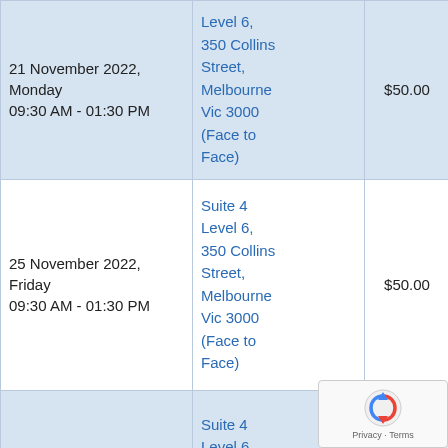| Date | Location | Price | Action |
| --- | --- | --- | --- |
| 21 November 2022, Monday
09:30 AM - 01:30 PM | Suite 4
Level 6,
350 Collins Street,
Melbourne
Vic 3000
(Face to Face) | $50.00 | Book Now |
| 25 November 2022, Friday
09:30 AM - 01:30 PM | Suite 4
Level 6,
350 Collins Street,
Melbourne
Vic 3000
(Face to Face) | $50.00 | Book Now |
| 28 November 2022, | Suite 4
Level 6,
350 Collins
Street, |  | Book Now |